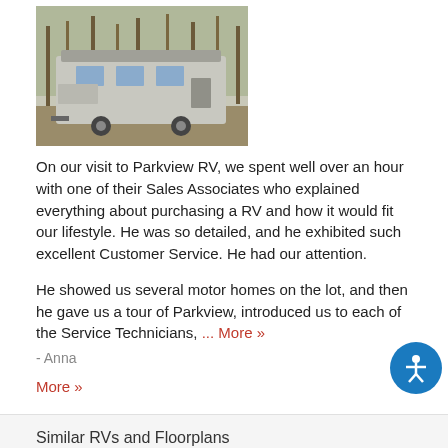[Figure (photo): RV/fifth-wheel trailer parked in a wooded area]
On our visit to Parkview RV, we spent well over an hour with one of their Sales Associates who explained everything about purchasing a RV and how it would fit our lifestyle. He was so detailed, and he exhibited such excellent Customer Service. He had our attention.
He showed us several motor homes on the lot, and then he gave us a tour of Parkview, introduced us to each of the Service Technicians, ... More »
- Anna
More »
Similar RVs and Floorplans
View all Bunkhouse Floorplans, Outdoor Kitchen